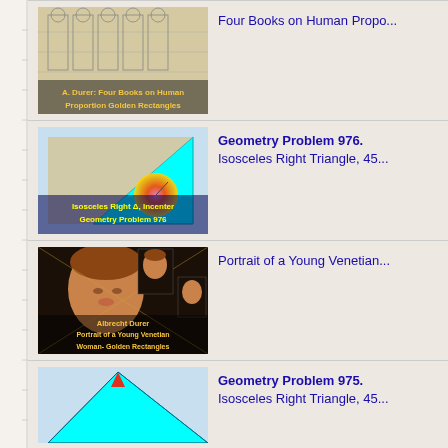[Figure (illustration): Thumbnail: A. Durer Four Books on Human Proportion Golden Rectangles - sketch of human figures]
Four Books on Human Propo...
[Figure (illustration): Thumbnail: Isosceles Right Triangle, Incenter, Geometry Problem 976 - cyan triangle with colorful circle]
Geometry Problem 976. Isosceles Right Triangle, 45...
[Figure (photo): Thumbnail: Albrecht Durer Portrait of a Young Venetian Woman - Golden Rectangles]
Portrait of a Young Venetian...
[Figure (illustration): Thumbnail: Isosceles Right Triangle, Geometry Problem 975 - cyan triangle]
Geometry Problem 975. Isosceles Right Triangle, 45...